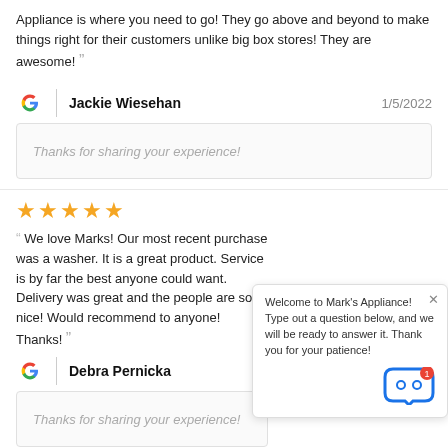Appliance is where you need to go! They go above and beyond to make things right for their customers unlike big box stores! They are awesome!
Jackie Wiesehan — 1/5/2022
Thanks for sharing your experience!
★★★★★
We love Marks! Our most recent purchase was a washer. It is a great product. Service is by far the best anyone could want. Delivery was great and the people are so nice! Would recommend to anyone! Thanks!
Debra Pernicka
Thanks for sharing your experience!
Welcome to Mark's Appliance! Type out a question below, and we will be ready to answer it. Thank you for your patience!